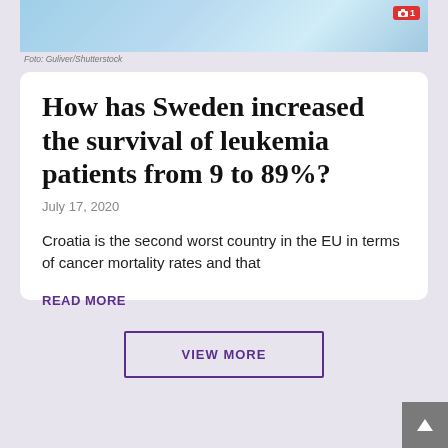[Figure (photo): Medical/stethoscope related photo with blue tones]
Foto: Guliver/Shutterstock
How has Sweden increased the survival of leukemia patients from 9 to 89%?
July 17, 2020
Croatia is the second worst country in the EU in terms of cancer mortality rates and that
READ MORE
VIEW MORE